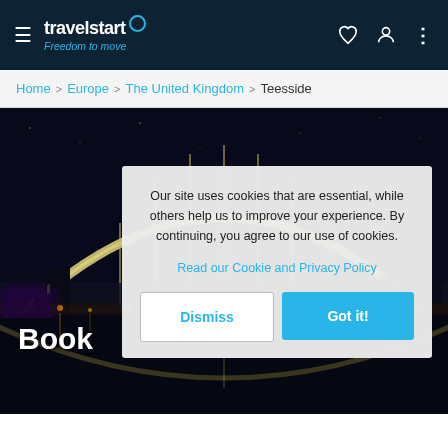travelstart – Freedom to move
Home > Europe > The United Kingdom > Teesside
[Figure (photo): Night photo of the Teesside Infinity Bridge, an illuminated arch bridge reflected in the river with city lights in the background]
Book
Our site uses cookies that are essential, while others help us to improve your experience. By continuing, you agree to our use of cookies.
Read our Cookie and Privacy Policy
Dismiss
Got it!